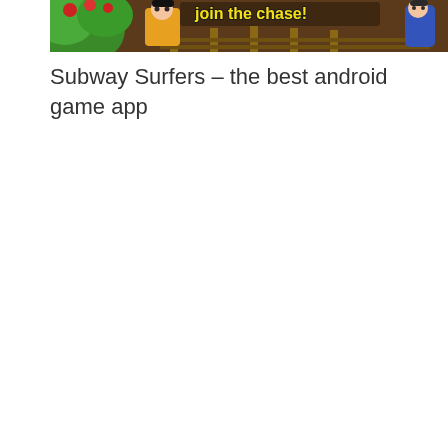[Figure (screenshot): Subway Surfers game screenshot showing colorful game scene with characters on a rail track, green bushes on left, a character in blue on right, and yellow text overlay partially visible at top]
Subway Surfers – the best android game app